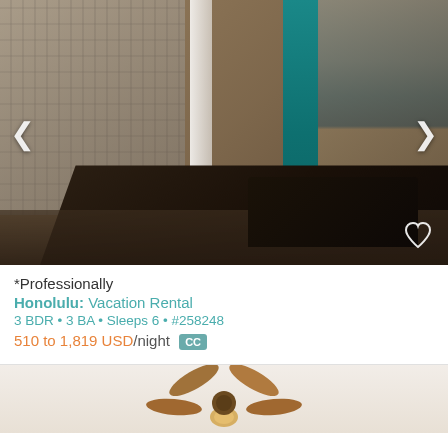[Figure (photo): Interior dining room photo of a vacation rental in Honolulu. Shows a dark wood dining table set with plates and wine glasses for 6, dark wood chairs, a china cabinet/hutton in the background, teal curtains, sheer white curtains, balcony with ocean view on the right, and city building view on the left. Navigation arrows on left and right sides. Heart/favorite icon in bottom right.]
*Professionally
Honolulu: Vacation Rental
3 BDR • 3 BA • Sleeps 6 • #258248
510 to 1,819 USD/night  CC
[Figure (photo): Partial view of a second vacation rental listing showing a ceiling fan against a white/beige ceiling.]